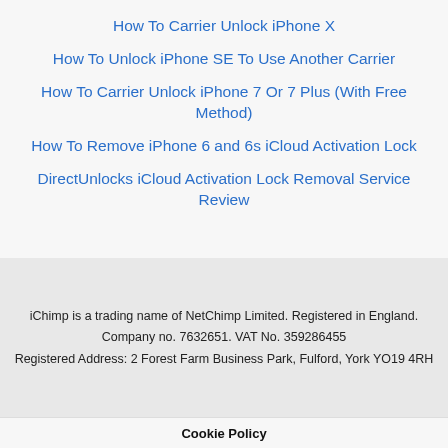How To Carrier Unlock iPhone X
How To Unlock iPhone SE To Use Another Carrier
How To Carrier Unlock iPhone 7 Or 7 Plus (With Free Method)
How To Remove iPhone 6 and 6s iCloud Activation Lock
DirectUnlocks iCloud Activation Lock Removal Service Review
iChimp is a trading name of NetChimp Limited. Registered in England.
Company no. 7632651. VAT No. 359286455
Registered Address: 2 Forest Farm Business Park, Fulford, York YO19 4RH
Cookie Policy